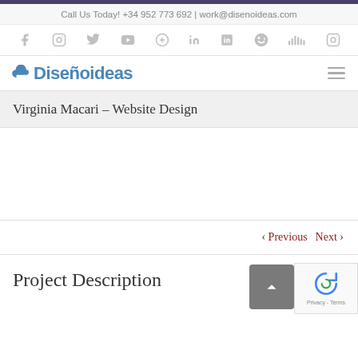Call Us Today! +34 952 773 692 | work@disenoideas.com
[Figure (other): Social media icons row: Facebook, Instagram, Twitter, YouTube, Pinterest, LinkedIn, Blogger, Skype, SoundCloud, Instagram]
[Figure (logo): Disenoideas logo with cloud icon and blue text]
Virginia Macari – Website Design
‹ Previous   Next ›
Project Description